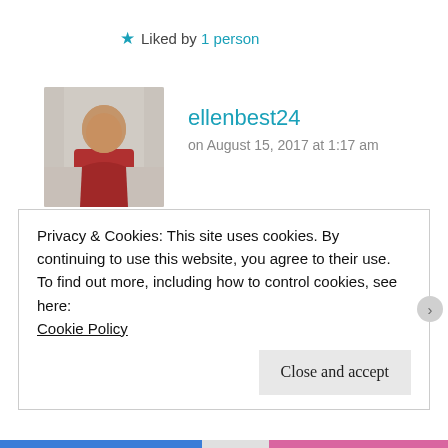★ Liked by 1 person
[Figure (photo): Avatar/profile photo of commenter ellenbest24, showing a person in a room]
ellenbest24
on August 15, 2017 at 1:17 am
Superb, a paid job and you get to be a boss person. The universe was listening and paid out, well deserved.
Privacy & Cookies: This site uses cookies. By continuing to use this website, you agree to their use.
To find out more, including how to control cookies, see here:
Cookie Policy
Close and accept